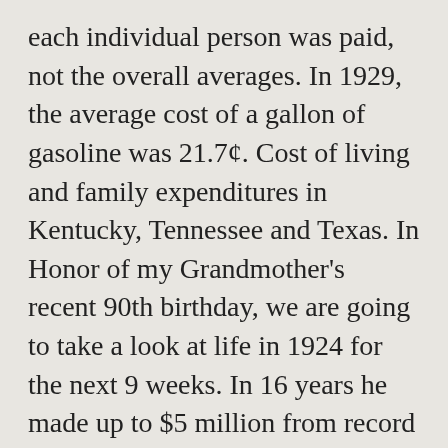each individual person was paid, not the overall averages. In 1929, the average cost of a gallon of gasoline was 21.7¢. Cost of living and family expenditures in Kentucky, Tennessee and Texas. In Honor of my Grandmother's recent 90th birthday, we are going to take a look at life in 1924 for the next 9 weeks. In 16 years he made up to $5 million from record sales, getting $4000 per song recorded plus a staggering 40 cents in royalties per record (at a time when records cost $1 or $1.50.) Data is broken out by occupation, sex and district. Tax covers both land and buildings. price was .09~.60 per mile: Medium range 25-400mi Canoe $75: Luxury auto $7000 : Mule $100: freighter. $30 per 1000 miles or frac. In 1920